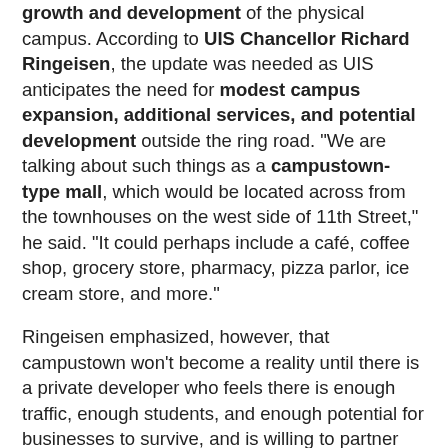growth and development of the physical campus. According to UIS Chancellor Richard Ringeisen, the update was needed as UIS anticipates the need for modest campus expansion, additional services, and potential development outside the ring road. "We are talking about such things as a campustown-type mall, which would be located across from the townhouses on the west side of 11th Street," he said. "It could perhaps include a café, coffee shop, grocery store, pharmacy, pizza parlor, ice cream store, and more."
Ringeisen emphasized, however, that campustown won't become a reality until there is a private developer who feels there is enough traffic, enough students, and enough potential for businesses to survive, and is willing to partner with UIS. He noted that there are several reasons why campustown would be a viable investment. "The number of students living on campus has grown. This fall we have more than 1,000 residential students. Wal-Mart is now only two miles away, and more development such as apartments and a small mall has taken place on Toronto Road. That means traffic has increased on the 11th Street corridor even though